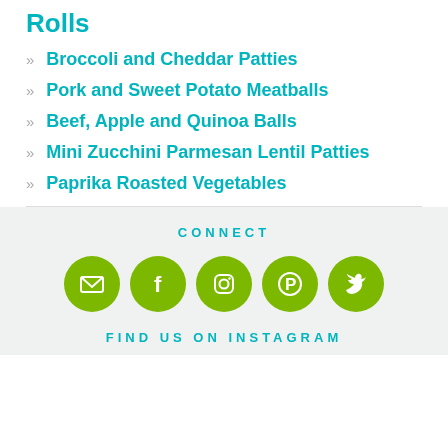Rolls
Broccoli and Cheddar Patties
Pork and Sweet Potato Meatballs
Beef, Apple and Quinoa Balls
Mini Zucchini Parmesan Lentil Patties
Paprika Roasted Vegetables
CONNECT
[Figure (infographic): Five green circular social media icons: email, Facebook, Instagram, Pinterest, Twitter]
FIND US ON INSTAGRAM